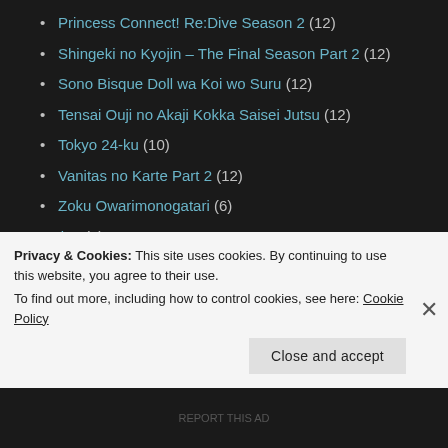Princess Connect! Re:Dive Season 2 (12)
Shingeki no Kyojin – The Final Season Part 2 (12)
Sono Bisque Doll wa Koi wo Suru (12)
Tensai Ouji no Akaji Kokka Saisei Jutsu (12)
Tokyo 24-ku (10)
Vanitas no Karte Part 2 (12)
Zoku Owarimonogatari (6)
Bracket (5)
Car Cameos (2)
Character Guides (6)
Discussion (1)
Privacy & Cookies: This site uses cookies. By continuing to use this website, you agree to their use.
To find out more, including how to control cookies, see here: Cookie Policy
Close and accept